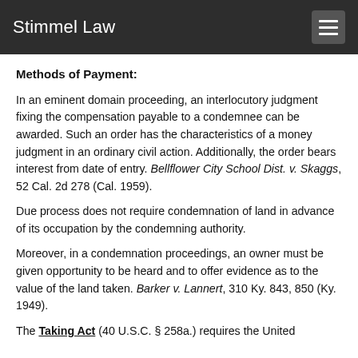Stimmel Law
Methods of Payment:
In an eminent domain proceeding, an interlocutory judgment fixing the compensation payable to a condemnee can be awarded. Such an order has the characteristics of a money judgment in an ordinary civil action. Additionally, the order bears interest from date of entry. Bellflower City School Dist. v. Skaggs, 52 Cal. 2d 278 (Cal. 1959).
Due process does not require condemnation of land in advance of its occupation by the condemning authority.
Moreover, in a condemnation proceedings, an owner must be given opportunity to be heard and to offer evidence as to the value of the land taken. Barker v. Lannert, 310 Ky. 843, 850 (Ky. 1949).
The Taking Act (40 U.S.C. § 258a.) requires the United